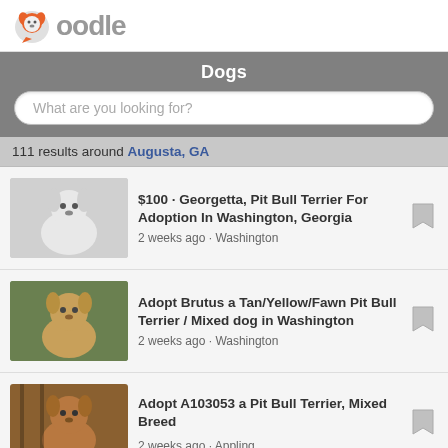[Figure (logo): Oodle logo with orange dog icon and grey 'oodle' text]
Dogs
What are you looking for?
111 results around Augusta, GA
$100 · Georgetta, Pit Bull Terrier For Adoption In Washington, Georgia · 2 weeks ago · Washington
Adopt Brutus a Tan/Yellow/Fawn Pit Bull Terrier / Mixed dog in Washington · 2 weeks ago · Washington
Adopt A103053 a Pit Bull Terrier, Mixed Breed · 2 weeks ago · Appling
Adopt SKYE a Pit Bull Terrier, Mixed Breed